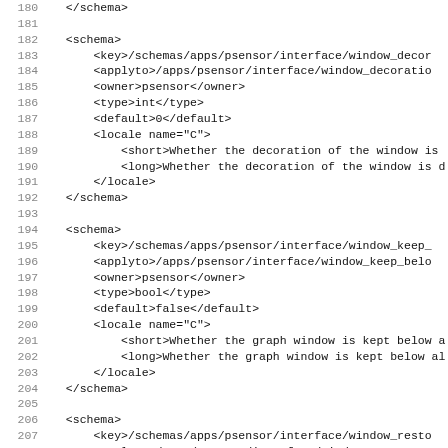Code listing lines 180-211 showing XML schema definitions for psensor interface settings including window_decoration, window_keep_below, and window_restore schemas